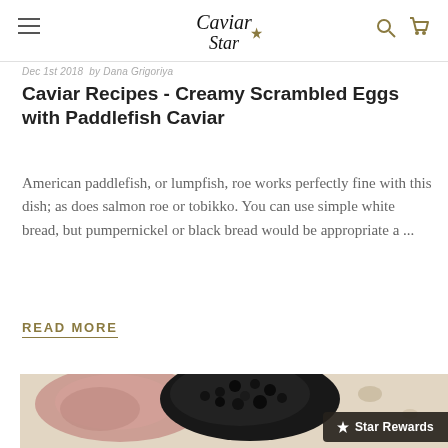Caviar Star — navigation header with hamburger menu, logo, search and cart icons
Dec 1st 2018  by Dana Grigoriya
Caviar Recipes - Creamy Scrambled Eggs with Paddlefish Caviar
American paddlefish, or lumpfish, roe works perfectly fine with this dish; as does salmon roe or tobikko. You can use simple white bread, but pumpernickel or black bread would be appropriate a ...
READ MORE
[Figure (photo): Food photo showing a piece of salmon or smoked fish topped with a large mound of black caviar on a light background, partially visible at bottom of page]